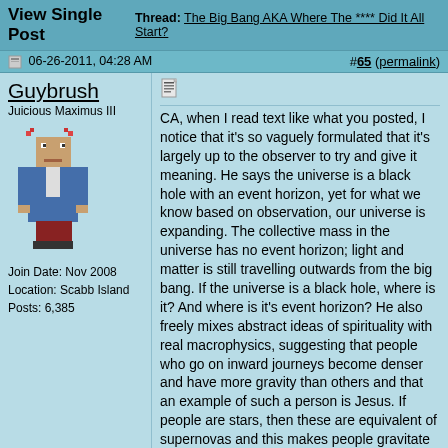View Single Post | Thread: The Big Bang AKA Where The **** Did It All Start?
06-26-2011, 04:28 AM | #65 (permalink)
Guybrush
Juicious Maximus III
[Figure (illustration): Pixel art avatar of a character in a blue coat with pink accessories, resembling Guybrush Threepwood from the Monkey Island game series.]
Join Date: Nov 2008
Location: Scabb Island
Posts: 6,385
CA, when I read text like what you posted, I notice that it's so vaguely formulated that it's largely up to the observer to try and give it meaning. He says the universe is a black hole with an event horizon, yet for what we know based on observation, our universe is expanding. The collective mass in the universe has no event horizon; light and matter is still travelling outwards from the big bang. If the universe is a black hole, where is it? And where is it's event horizon? He also freely mixes abstract ideas of spirituality with real macrophysics, suggesting that people who go on inward journeys become denser and have more gravity than others and that an example of such a person is Jesus. If people are stars, then these are equivalent of supernovas and this makes people gravitate towards them and makes them capable of f.ex starting religions.